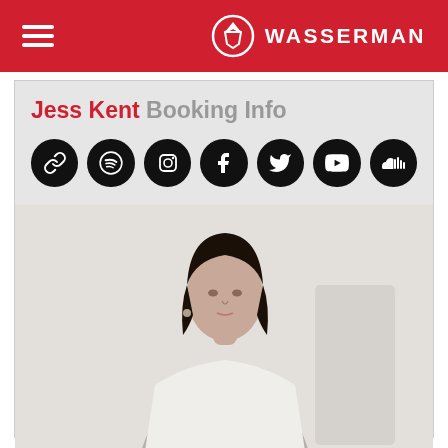Wasserman — navigation header with logo
Jess Kent Booking Info
[Figure (other): Row of 7 social media icon buttons (link, Spotify, Instagram, Facebook, Twitter, YouTube, SoundCloud) as black circular buttons with white icons]
[Figure (photo): Portrait photo of Jess Kent, a young woman with dark hair, wearing a white jacket, posed against a light background]